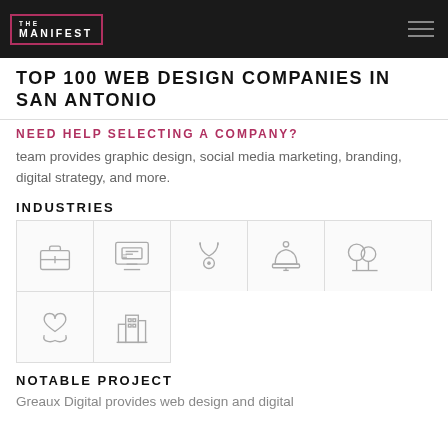THE MANIFEST
TOP 100 WEB DESIGN COMPANIES IN SAN ANTONIO
NEED HELP SELECTING A COMPANY?
team provides graphic design, social media marketing, branding, digital strategy, and more.
INDUSTRIES
[Figure (infographic): Industry icons grid: briefcase (Business Services), e-commerce monitor (E-Commerce), stethoscope (Medical/Health), service bell (Hospitality), nature/trees (Environment/Nature), hands with heart (Non-profit/Social), buildings (Real Estate/Urban)]
NOTABLE PROJECT
Greaux Digital provides web design and digital